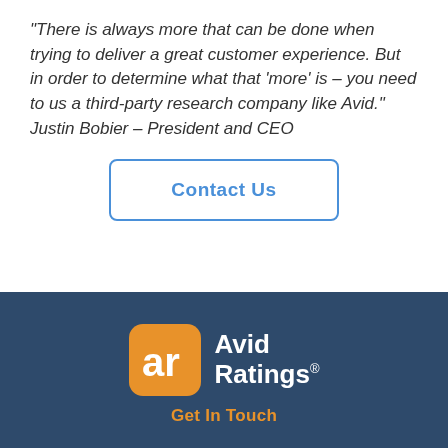“There is always more that can be done when trying to deliver a great customer experience. But in order to determine what that ‘more’ is – you need to us a third-party research company like Avid.” Justin Bobier – President and CEO
Contact Us
[Figure (logo): Avid Ratings logo: orange rounded square with white 'ar' letters, next to white text 'Avid Ratings' with registered trademark symbol]
Get In Touch